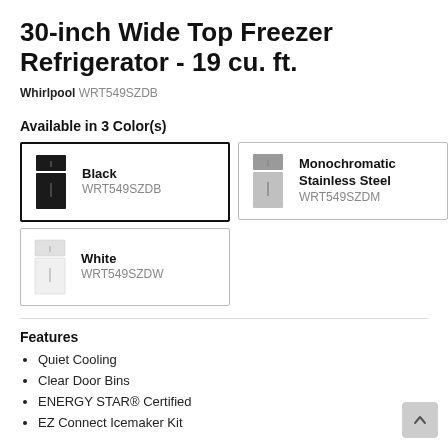30-inch Wide Top Freezer Refrigerator - 19 cu. ft.
Whirlpool WRT549SZDB
Available in 3 Color(s)
Black WRT549SZDB
Monochromatic Stainless Steel WRT549SZDM
White WRT549SZDW
Features
Quiet Cooling
Clear Door Bins
ENERGY STAR® Certified
EZ Connect Icemaker Kit